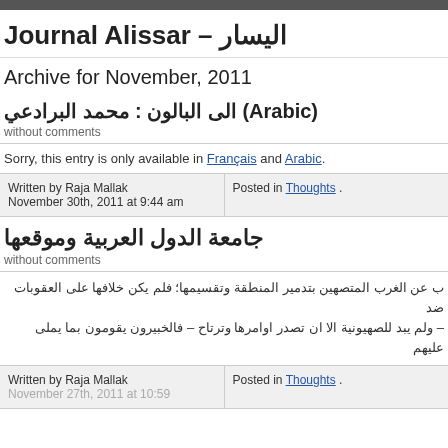Journal Alissar – اليسار
Archive for November, 2011
الى البالون : محمد البرادعي (Arabic)
without comments
Sorry, this entry is only available in Français and Arabic.
Written by Raja Mallak
November 30th, 2011 at 9:44 am
Posted in Thoughts .
جامعة الدول العربية وموقعها
without comments
ب عن الغرب المتصهين بتدمير المنطقة وتقسيمها؛ فلم يكن خلافها على العقوبات ضد
– ولم يبد للصهيونية الا ان تصدر اوامرها وترتاح – فالخبيرون يقومون بما يملى عليهم
Written by Raja Mallak
Posted in Thoughts .